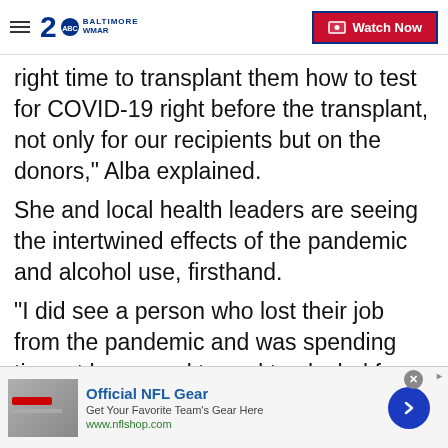2 BALTIMORE WMAR | Watch Now
right time to transplant them how to test for COVID-19 right before the transplant, not only for our recipients but on the donors," Alba explained.
She and local health leaders are seeing the intertwined effects of the pandemic and alcohol use, firsthand.
"I did see a person who lost their job from the pandemic and was spending time at home and turned to alcohol for coping mechanisms and within nine months of the pandemic had gone from a pretty norm...
[Figure (screenshot): Advertisement banner at the bottom: Official NFL Gear - Get Your Favorite Team's Gear Here - www.nflshop.com, with a close button and a blue arrow button]